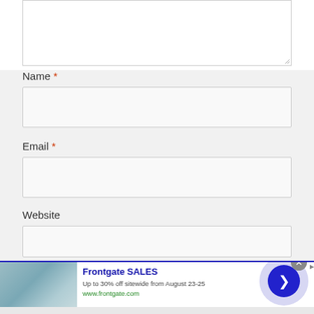[Figure (screenshot): Textarea form field (top portion cut off), partially visible at top of page]
Name *
[Figure (screenshot): Name input text field, empty]
Email *
[Figure (screenshot): Email input text field, empty]
Website
[Figure (screenshot): Website input text field, partially visible]
[Figure (infographic): Advertisement banner for Frontgate SALES. Shows bedroom image on left, text 'Frontgate SALES Up to 30% off sitewide from August 23-25 www.frontgate.com' in center, circular arrow button on right, close X button at top right.]